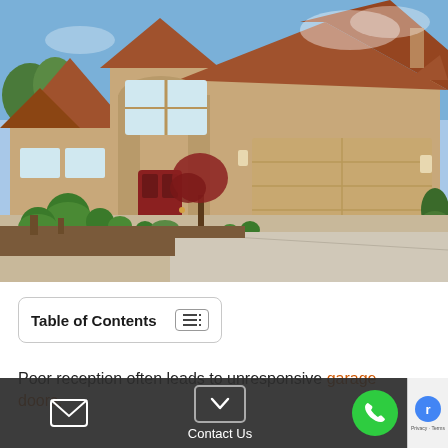[Figure (photo): Two-story stucco house with terracotta roof shingles, arched entryway, double garage door partially open, landscaped front yard with shaped shrubs and ornamental trees, concrete driveway.]
Table of Contents
Poor reception often leads to unresponsive garage doors.
Contact Us